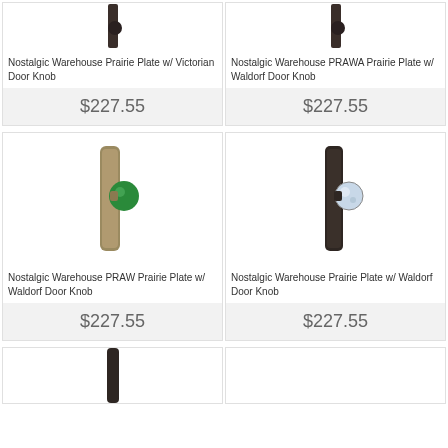[Figure (photo): Nostalgic Warehouse Prairie Plate with Victorian Door Knob - dark metal finish]
Nostalgic Warehouse Prairie Plate w/ Victorian Door Knob
$227.55
[Figure (photo): Nostalgic Warehouse PRAWA Prairie Plate with Waldorf Door Knob - dark metal finish]
Nostalgic Warehouse PRAWA Prairie Plate w/ Waldorf Door Knob
$227.55
[Figure (photo): Nostalgic Warehouse PRAW Prairie Plate with Waldorf Door Knob - brass/antique finish with green glass knob]
Nostalgic Warehouse PRAW Prairie Plate w/ Waldorf Door Knob
$227.55
[Figure (photo): Nostalgic Warehouse Prairie Plate with Waldorf Door Knob - dark/oil rubbed bronze finish with crystal knob]
Nostalgic Warehouse Prairie Plate w/ Waldorf Door Knob
$227.55
[Figure (photo): Nostalgic Warehouse door knob product - dark finish, partially visible]
[Figure (photo): Nostalgic Warehouse door knob product - partially visible]